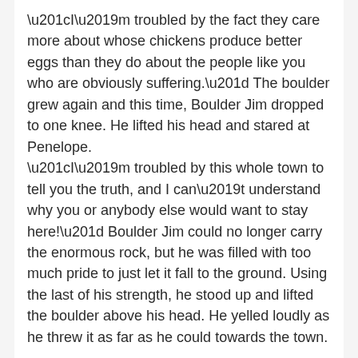“I’m troubled by the fact they care more about whose chickens produce better eggs than they do about the people like you who are obviously suffering.” The boulder grew again and this time, Boulder Jim dropped to one knee. He lifted his head and stared at Penelope.
“I’m troubled by this whole town to tell you the truth, and I can’t understand why you or anybody else would want to stay here!” Boulder Jim could no longer carry the enormous rock, but he was filled with too much pride to just let it fall to the ground. Using the last of his strength, he stood up and lifted the boulder above his head. He yelled loudly as he threw it as far as he could towards the town.
The boulder hit the ground, shattering into hundreds of smaller pieces with many of them falling in front of the crowds gathering to see the